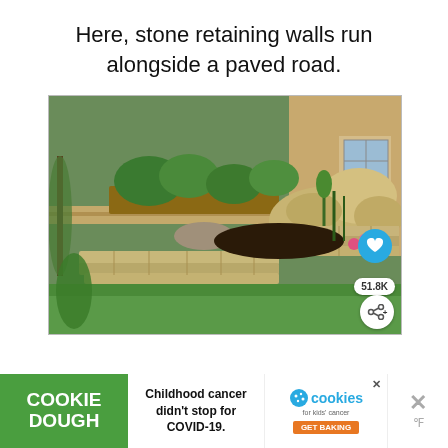Here, stone retaining walls run alongside a paved road.
[Figure (photo): Outdoor garden scene featuring stone retaining walls with stacked flat stones, green plants, grass lawn, and a house with siding in the background. Social media UI elements overlay the image: a heart/like button (51.8K likes) and a share button.]
[Figure (infographic): Advertisement banner: Cookie Dough (green background, white bold text), center text 'Childhood cancer didn't stop for COVID-19.', Cookies for Kids' Cancer logo with 'GET BAKING' orange button, and a close/dismiss X button.]